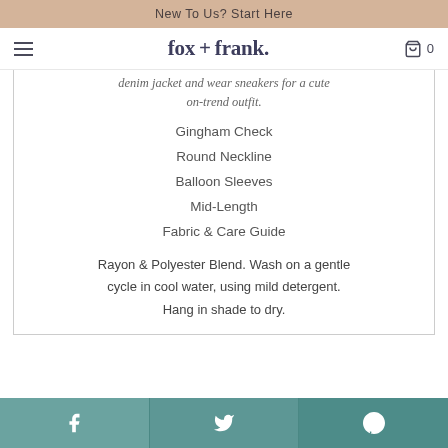New To Us? Start Here
fox + frank.
denim jacket and wear sneakers for a cute on-trend outfit.
Gingham Check
Round Neckline
Balloon Sleeves
Mid-Length
Fabric & Care Guide
Rayon & Polyester Blend. Wash on a gentle cycle in cool water, using mild detergent. Hang in shade to dry.